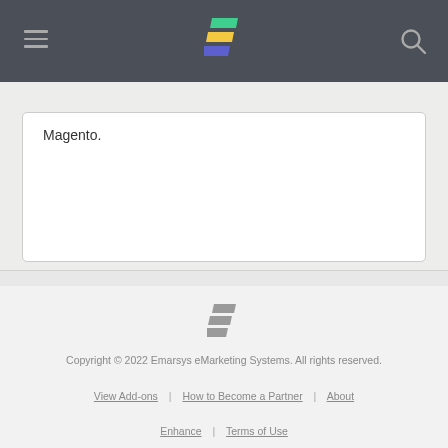Emarsys navigation header
Magento.
[Figure (logo): Emarsys logo in gray, footer version]
Copyright © 2022 Emarsys eMarketing Systems. All rights reserved. View Add-ons | How to Become a Partner | About Enhance | Terms of Use